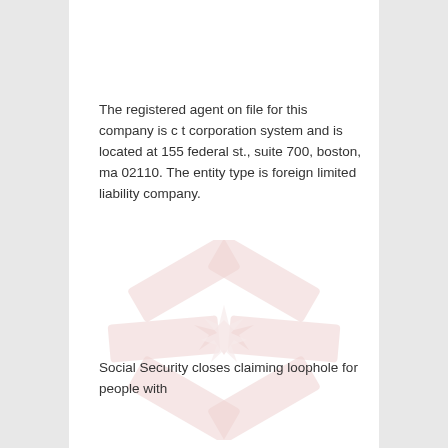The registered agent on file for this company is c t corporation system and is located at 155 federal st., suite 700, boston, ma 02110. The entity type is foreign limited liability company.
[Figure (illustration): A faded watermark-style illustration of overlapping red brick-like rectangular shapes arranged in an asterisk or starburst pattern, with a jagged star burst shape in the center. The image is very light/washed out in pinkish-red tones.]
Social Security closes claiming loophole for people with